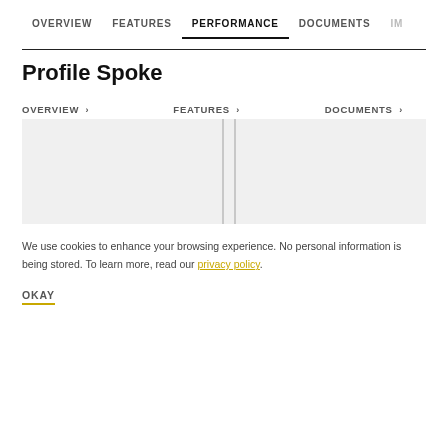OVERVIEW  FEATURES  PERFORMANCE  DOCUMENTS  IM
Profile Spoke
OVERVIEW >  FEATURES >  DOCUMENTS >
[Figure (other): Gray placeholder box with two vertical divider lines]
We use cookies to enhance your browsing experience. No personal information is being stored. To learn more, read our privacy policy.
OKAY